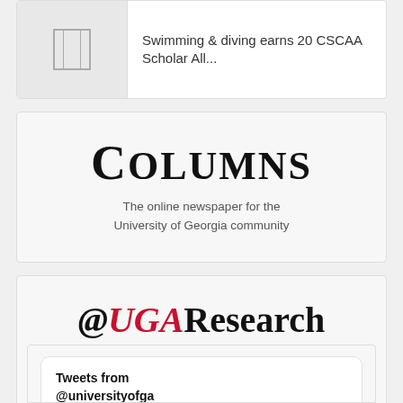[Figure (screenshot): Article card with thumbnail image placeholder and text: Swimming & diving earns 20 CSCAA Scholar All...]
Swimming & diving earns 20 CSCAA Scholar All...
[Figure (logo): Columns newspaper logo with tagline: The online newspaper for the University of Georgia community]
The online newspaper for the University of Georgia community
[Figure (logo): @UGAResearch logo with tagline: Research news from across the University of Georgia]
Research news from across the University of Georgia
Tweets from @universityofga